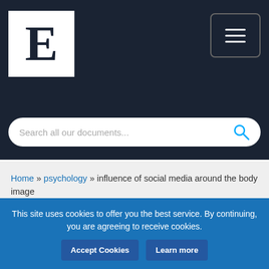[Figure (logo): Website logo: white box with bold serif letter E on dark navy header background, with hamburger menu button top right]
Search all our documents...
Home » psychology » influence of social media around the body image
Influence of social media around the body image
Psychology,
Words: 2975
This site uses cookies to offer you the best service. By continuing, you are agreeing to receive cookies.